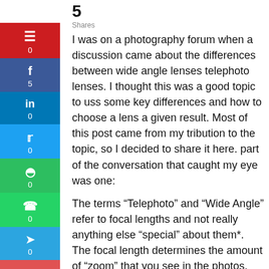5
Shares
I was on a photography forum when a discussion came about the differences between wide angle lenses telephoto lenses. I thought this was a good topic to uss some key differences and how to choose a lens a given result. Most of this post came from my tribution to the topic, so I decided to share it here. part of the conversation that caught my eye was one:
The terms “Telephoto” and “Wide Angle” refer to focal lengths and not really anything else “special” about them*. The focal length determines the amount of “zoom” that you see in the photos, the ower the number (usually done in mm (probably lways)) the “wider” the shot.